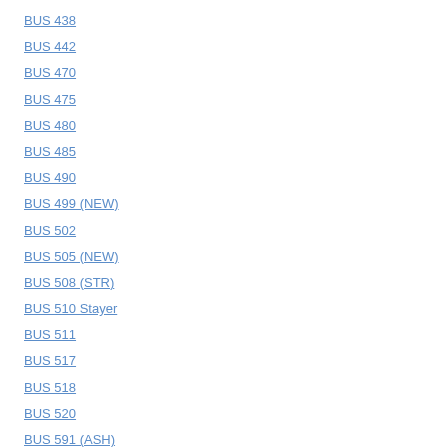BUS 438
BUS 442
BUS 470
BUS 475
BUS 480
BUS 485
BUS 490
BUS 499 (NEW)
BUS 502
BUS 505 (NEW)
BUS 508 (STR)
BUS 510 Stayer
BUS 511
BUS 517
BUS 518
BUS 520
BUS 591 (ASH)
BUS 599 (NEW)
BUS 600 (ASH)